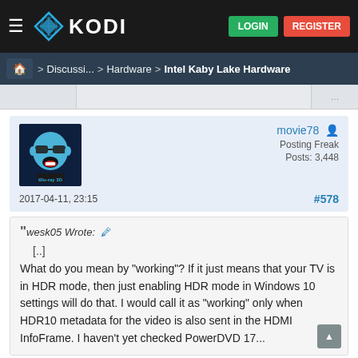KODI — LOGIN | REGISTER
Home > Discussi... > Hardware > Intel Kaby Lake Hardware
[Figure (screenshot): User avatar for movie78 — blue cartoon character with sunglasses and Blu-ray 3D logo]
movie78
Posting Freak
Posts: 3,448
2017-04-11, 23:15	#578
wesk05 Wrote: [..]
What do you mean by "working"? If it just means that your TV is in HDR mode, then just enabling HDR mode in Windows 10 settings will do that. I would call it as "working" only when HDR10 metadata for the video is also sent in the HDMI InfoFrame. I haven't yet checked PowerDVD 17...